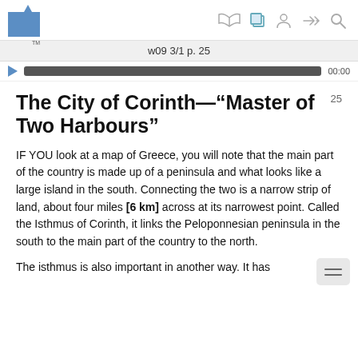w09 3/1 p. 25
The City of Corinth—“Master of Two Harbours”
IF YOU look at a map of Greece, you will note that the main part of the country is made up of a peninsula and what looks like a large island in the south. Connecting the two is a narrow strip of land, about four miles [6 km] across at its narrowest point. Called the Isthmus of Corinth, it links the Peloponnesian peninsula in the south to the main part of the country to the north.
The isthmus is also important in another way. It has